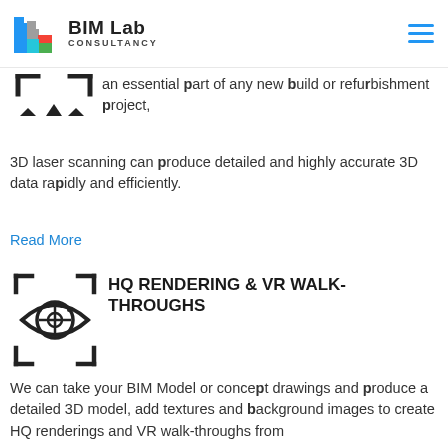BIM Lab CONSULTANCY
[Figure (illustration): Partial scan/target icon with corner brackets (top portion cut off)]
an essential part of any new build or refurbishment project, 3D laser scanning can produce detailed and highly accurate 3D data rapidly and efficiently.
Read More
[Figure (illustration): Eye with crosshair/target reticle inside, surrounded by corner bracket viewfinder marks]
HQ RENDERING & VR WALK-THROUGHS
We can take your BIM Model or concept drawings and produce a detailed 3D model, add textures and background images to create HQ renderings and VR walk-throughs from